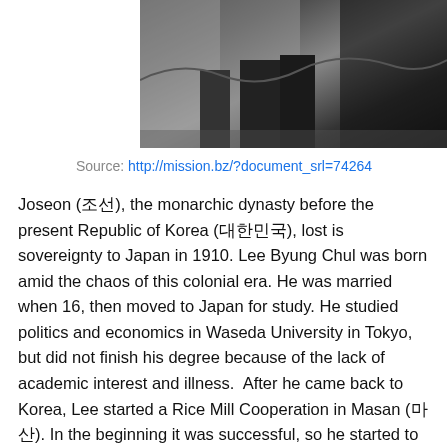[Figure (photo): Black and white photograph showing figures, partial view cropped at top of page]
Source: http://mission.bz/?document_srl=74264
Joseon (조선), the monarchic dynasty before the present Republic of Korea (대한민국), lost is sovereignty to Japan in 1910. Lee Byung Chul was born amid the chaos of this colonial era. He was married when 16, then moved to Japan for study. He studied politics and economics in Waseda University in Tokyo, but did not finish his degree because of the lack of academic interest and illness.  After he came back to Korea, Lee started a Rice Mill Cooperation in Masan (마산). In the beginning it was successful, so he started to receive bank loans and invested on real estate. but short after, the Japanese government put restrictions on bank loans because of Sino-Chinese war.